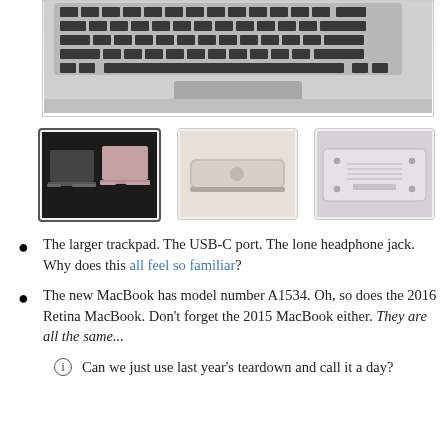[Figure (photo): Partial top-view photo of a MacBook laptop showing keyboard and trackpad, cropped at bottom of image frame, inside a bordered box]
[Figure (photo): Thumbnail 1 (selected, with border): Two MacBook laptops side by side — one Space Gray and one Rose Gold — open, seen from front]
[Figure (photo): Thumbnail 2: Close-up of a closed MacBook in Silver/Rose Gold showing the side edge]
[Figure (photo): Thumbnail 3: Bottom panel of a MacBook in Rose Gold/Silver showing screws and vents]
The larger trackpad. The USB-C port. The lone headphone jack. Why does this all feel so familiar?
The new MacBook has model number A1534. Oh, so does the 2016 Retina MacBook. Don't forget the 2015 MacBook either. They are all the same...
Can we just use last year's teardown and call it a day?